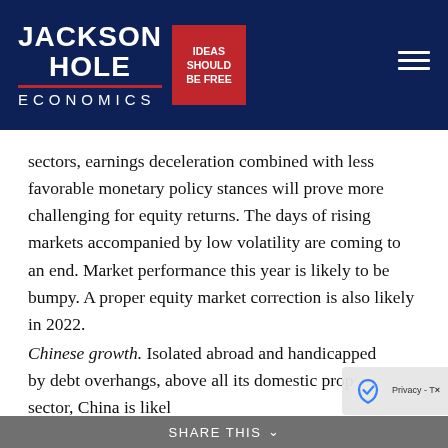[Figure (logo): Jackson Hole Economics logo with red box reading IDEAS SHOULD BE FREE on dark navy background header]
sectors, earnings deceleration combined with less favorable monetary policy stances will prove more challenging for equity returns. The days of rising markets accompanied by low volatility are coming to an end. Market performance this year is likely to be bumpy. A proper equity market correction is also likely in 2022.
Chinese growth. Isolated abroad and handicapped by debt overhangs, above all its domestic property sector, China is likel to
Share This